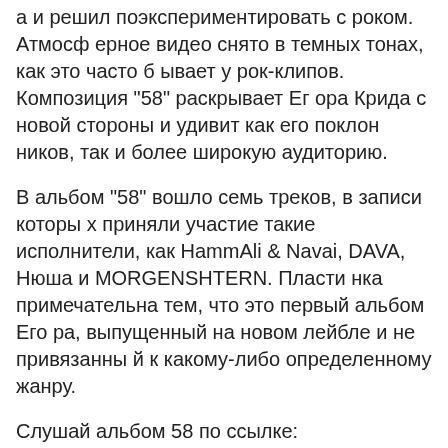а и решил поэкспериментировать с роком. Атмосферное видео снято в темных тонах, как это часто бывает у рок-клипов. Композиция "58" раскрывает Егора Крида с новой стороны и удивит как его поклонников, так и более широкую аудиторию.
В альбом "58" вошло семь треков, в записи которых приняли участие такие исполнители, как HammAli & Navai, DAVA, Нюша и MORGENSHTERN. Пластинка примечательна тем, что это первый альбом Егора, выпущенный на новом лейбле и не привязанный к какому-либо определенному жанру.
Слушай альбом 58 по ссылке: https://wmr.lnk.to/58
соц. сети Егора Крида:
- Твич - https://twitch.tv/egorkreed
- Instagram: http://instagram.com/egorkreed
- Tik Tok: https://www.tiktok.com/@egorkreed